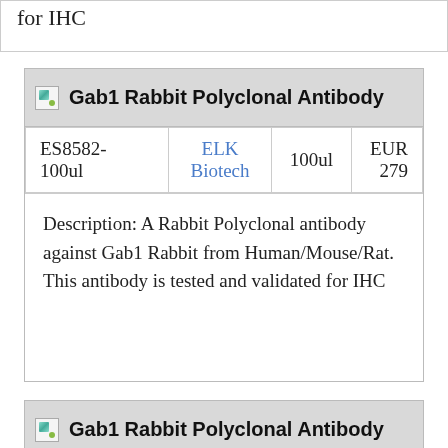for IHC
| SKU | Brand | Size | Price |
| --- | --- | --- | --- |
| ES8582-100ul | ELK Biotech | 100ul | EUR 279 |
Gab1 Rabbit Polyclonal Antibody
Description: A Rabbit Polyclonal antibody against Gab1 Rabbit from Human/Mouse/Rat. This antibody is tested and validated for IHC
| SKU | Brand | Size | Price |
| --- | --- | --- | --- |
| ES8582-50ul | ELK Biotech | 50ul | EUR 207 |
Gab1 Rabbit Polyclonal Antibody